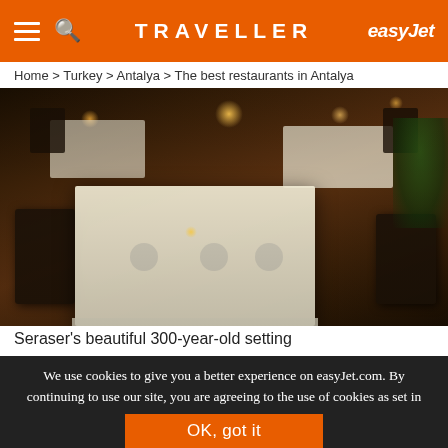TRAVELLER | easyJet
Home > Turkey > Antalya > The best restaurants in Antalya
[Figure (photo): Outdoor restaurant dining area at night with ornate iron chairs, white tablecloths, candles and warm ambient lighting — Seraser restaurant's 300-year-old setting in Antalya]
Seraser's beautiful 300-year-old setting
We use cookies to give you a better experience on easyJet.com. By continuing to use our site, you are agreeing to the use of cookies as set in our Cookie Policy.
OK, got it